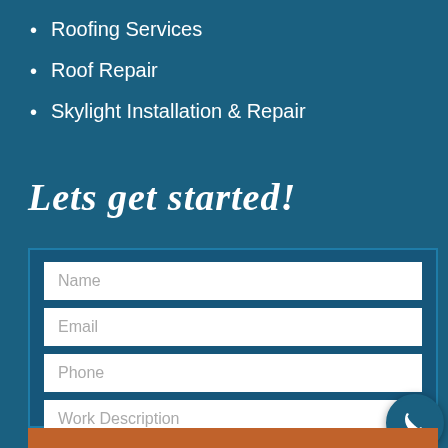Roofing Services
Roof Repair
Skylight Installation & Repair
Lets get started!
[Figure (other): Contact form with fields: Name, Email, Phone, Work Description, and a phone call button icon at bottom right]